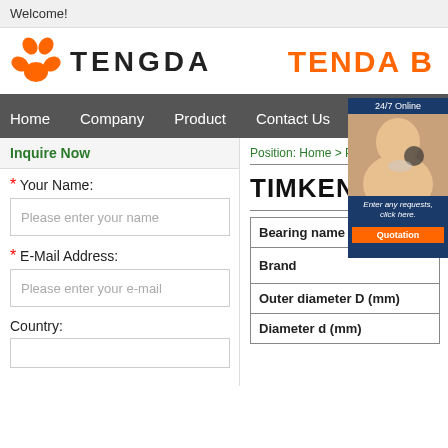Welcome!
[Figure (logo): Tengda logo with orange paw-print icon and TENGDA text, plus TENDA banner text on right]
Home   Company   Product   Contact Us
Inquire Now
Position: Home > Product
* Your Name:
Please enter your name
* E-Mail Address:
Please enter your e-mail
Country:
TIMKEN LM/...
| Bearing name |
| --- |
| Brand |
| Outer diameter D (mm) |
| Diameter d (mm) |